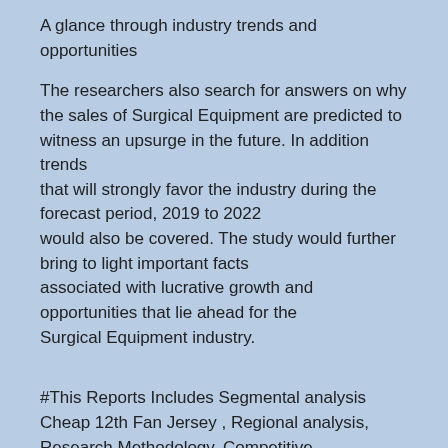A glance through industry trends and opportunities
The researchers also search for answers on why the sales of Surgical Equipment are predicted to witness an upsurge in the future. In addition trends that will strongly favor the industry during the forecast period, 2019 to 2022 would also be covered. The study would further bring to light important facts associated with lucrative growth and opportunities that lie ahead for the Surgical Equipment industry.
#This Reports Includes Segmental analysis Cheap 12th Fan Jersey , Regional analysis, Research Methodology, Competitive Landscape, Learn how to build the strategy and business case to implement Order Here@?
On the basis of End. Wholesale Nike Air Jordan   Wholesale Air Max China   Cheap Nike Shoes   Wholesale Air